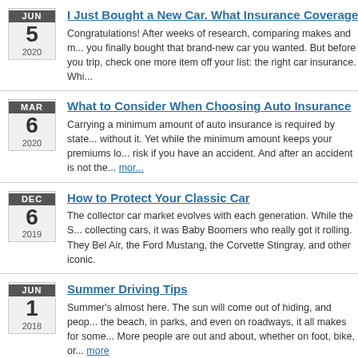I Just Bought a New Car. What Insurance Coverage Do I Ne...
Congratulations! After weeks of research, comparing makes and m... you finally bought that brand-new car you wanted. But before you trip, check one more item off your list: the right car insurance. Whi...
What to Consider When Choosing Auto Insurance
Carrying a minimum amount of auto insurance is required by state... without it. Yet while the minimum amount keeps your premiums lo... risk if you have an accident. And after an accident is not the... more
How to Protect Your Classic Car
The collector car market evolves with each generation. While the S... collecting cars, it was Baby Boomers who really got it rolling. They Bel Air, the Ford Mustang, the Corvette Stingray, and other iconic.
Summer Driving Tips
Summer's almost here. The sun will come out of hiding, and peop... the beach, in parks, and even on roadways, it all makes for some... More people are out and about, whether on foot, bike, or... more